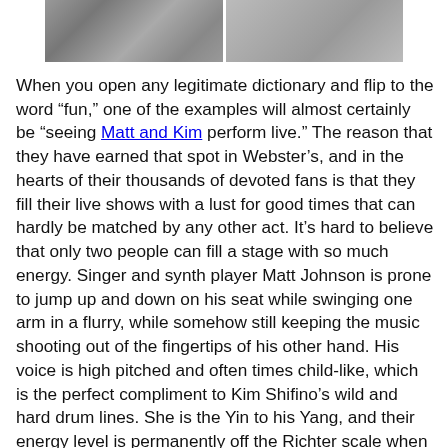[Figure (photo): Black and white photo strip showing two images side by side, partially cropped at the top of the page.]
When you open any legitimate dictionary and flip to the word “fun,” one of the examples will almost certainly be “seeing Matt and Kim perform live.” The reason that they have earned that spot in Webster’s, and in the hearts of their thousands of devoted fans is that they fill their live shows with a lust for good times that can hardly be matched by any other act. It’s hard to believe that only two people can fill a stage with so much energy. Singer and synth player Matt Johnson is prone to jump up and down on his seat while swinging one arm in a flurry, while somehow still keeping the music shooting out of the fingertips of his other hand. His voice is high pitched and often times child-like, which is the perfect compliment to Kim Shifino’s wild and hard drum lines. She is the Yin to his Yang, and their energy level is permanently off the Richter scale when they combine their musical talents on stage.